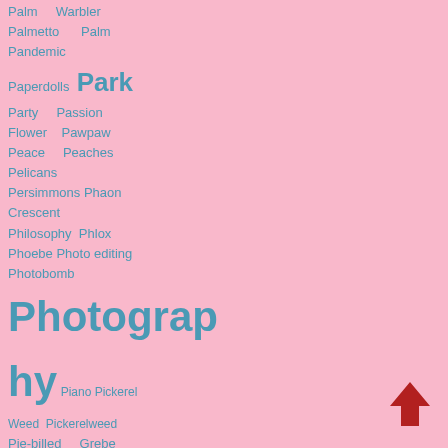Palm Warbler Palmetto Palm Pandemic Paperdolls Park Party Passion Flower Pawpaw Peace Peaches Pelicans Persimmons Phaon Crescent Philosophy Phlox Phoebe Photo editing Photobomb Photography Piano Pickerel Weed Pickerelweed Pie-billed Grebe Pied-billed Grebe Piggly Wiggly Pileated Woodpecker Pillow covers Pincushions Pine Warbler
[Figure (other): Red upward arrow icon in bottom right corner]